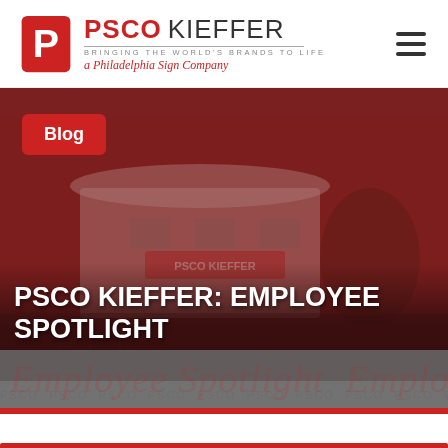[Figure (logo): PSCO Kieffer logo with red P icon, bold PSCO KIEFFER text, tagline BRINGING THE WORLD'S BRANDS TO LIFE, and subtitle a Philadelphia Sign Company]
[Figure (screenshot): Hero banner image: dark red tinted photo of PSCO Kieffer building exterior with Blog badge button, large white bold text PSCO KIEFFER: EMPLOYEE SPOTLIGHT overlaid, gray bar with watermark text Employee Spotlight, and decorative pattern strip below]
PSCO KIEFFER: EMPLOYEE SPOTLIGHT
Blog